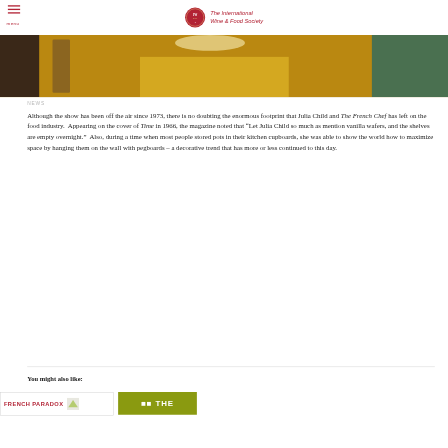The International Wine & Food Society
[Figure (photo): Kitchen scene with a yellow tablecloth-covered table and wooden chairs]
NEWS
Although the show has been off the air since 1973, there is no doubting the enormous footprint that Julia Child and The French Chef has left on the food industry.  Appearing on the cover of Time in 1966, the magazine noted that “Let Julia Child so much as mention vanilla wafers, and the shelves are empty overnight.”  Also, during a time when most people stored pots in their kitchen cupboards, she was able to show the world how to maximize space by hanging them on the wall with pegboards – a decorative trend that has more or less continued to this day.
You might also like:
[Figure (screenshot): Thumbnail for French Paradox article]
[Figure (screenshot): Thumbnail for another article with dark background]